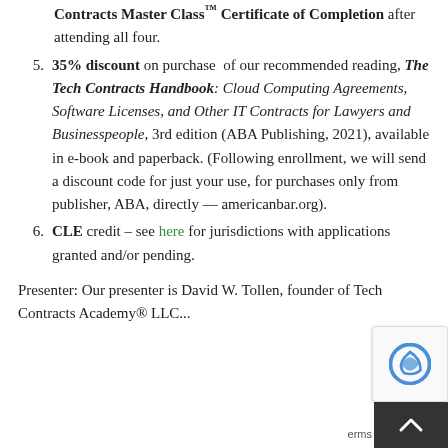Contracts Master Class™ Certificate of Completion after attending all four.
35% discount on purchase of our recommended reading, The Tech Contracts Handbook: Cloud Computing Agreements, Software Licenses, and Other IT Contracts for Lawyers and Businesspeople, 3rd edition (ABA Publishing, 2021), available in e-book and paperback. (Following enrollment, we will send a discount code for just your use, for purchases only from publisher, ABA, directly — americanbar.org).
CLE credit – see here for jurisdictions with applications granted and/or pending.
Presenter: Our presenter is David W. Tollen, founder of Tech Contracts Academy® LLC...